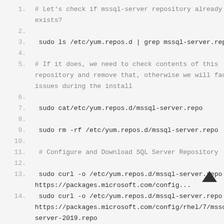Code block showing shell commands for checking and configuring mssql-server repository and installing SQL Server. Lines 1-20.